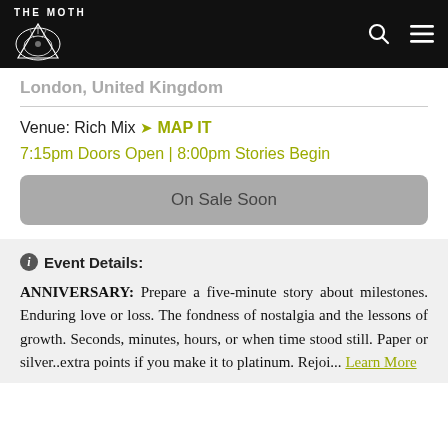THE MOTH
London, United Kingdom
Venue: Rich Mix MAP IT
7:15pm Doors Open | 8:00pm Stories Begin
On Sale Soon
Event Details:
ANNIVERSARY: Prepare a five-minute story about milestones. Enduring love or loss. The fondness of nostalgia and the lessons of growth. Seconds, minutes, hours, or when time stood still. Paper or silver..extra points if you make it to platinum. Rejoi... Learn More